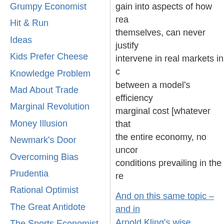Hit & Run
Ideas
Kids Prefer Cheese
Knowledge Problem
Mad About Trade
Marginal Revolution
Money Illusion
Newmark's Door
Overcoming Bias
Prudentia
Rational Optimist
The Great Antidote
The Sports Economist
ThinkMarkets
Tim Worstall
Volokh Conspiracy
gain into aspects of how real themselves, can never justify intervene in real markets in c between a model's efficiency marginal cost [whatever that the entire economy, no uncor conditions prevailing in the re
And on this same topic – and in Arnold Kling's wise reflections or of economists approach scientifi
Looking carefully at data on proc finds cause for optimism about t
Jonah Goldberg isn't impressed
Alberto Mingardi writes about He
Comments